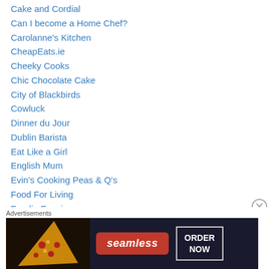Cake and Cordial
Can I become a Home Chef?
Carolanne's Kitchen
CheapEats.ie
Cheeky Cooks
Chic Chocolate Cake
City of Blackbirds
Cowluck
Dinner du Jour
Dublin Barista
Eat Like a Girl
English Mum
Evin's Cooking Peas & Q's
Food For Living
Foodie Fancies
Forkncork
Friendly Cottage
[Figure (screenshot): Seamless food delivery advertisement banner with pizza image, Seamless logo in red, and ORDER NOW button in bordered box on dark background]
Advertisements